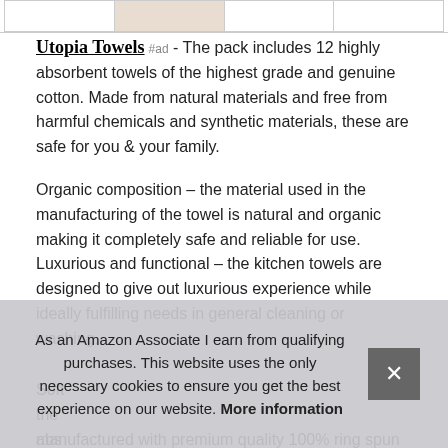[Figure (photo): Strip of four product image thumbnails at top of page, partially visible. Second thumbnail shows towel/fabric image.]
Utopia Towels #ad - The pack includes 12 highly absorbent towels of the highest grade and genuine cotton. Made from natural materials and free from harmful chemicals and synthetic materials, these are safe for you & your family.
Organic composition – the material used in the manufacturing of the towel is natural and organic making it completely safe and reliable for use. Luxurious and functional – the kitchen towels are designed to give out luxurious experience while ideally fulfilling needs in general cleaning or washing.
Soft... the... abs... manufactured with premium quality 100% ring spun cotton
As an Amazon Associate I earn from qualifying purchases. This website uses the only necessary cookies to ensure you get the best experience on our website. More information